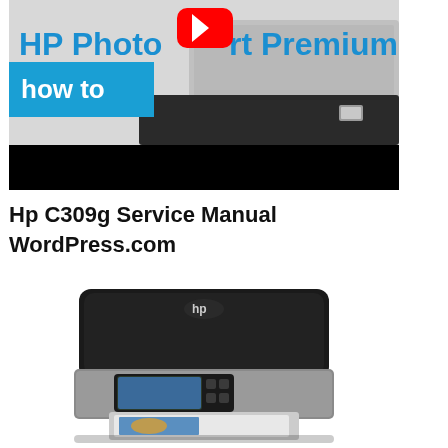[Figure (screenshot): YouTube video thumbnail showing HP Photosmart Premium printer with 'how to' badge overlay in teal/blue color, red YouTube play button, text reads 'HP Photosmart Premium', dark gray printer shown on light background, black letterbox bar at bottom]
Hp C309g Service Manual WordPress.com
[Figure (photo): Photo of HP Photosmart C309g all-in-one inkjet printer, black and silver color, shown from a slight angle with touchscreen display panel visible on front, paper tray extended showing a printed photo]